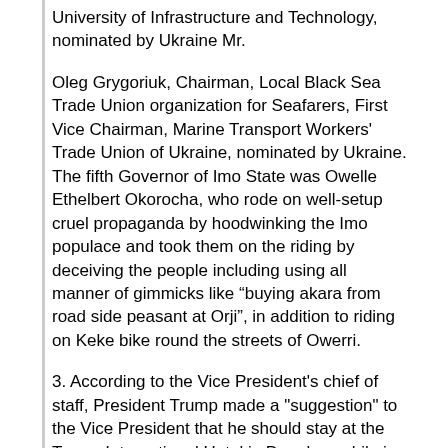University of Infrastructure and Technology, nominated by Ukraine Mr.
Oleg Grygoriuk, Chairman, Local Black Sea Trade Union organization for Seafarers, First Vice Chairman, Marine Transport Workers' Trade Union of Ukraine, nominated by Ukraine. The fifth Governor of Imo State was Owelle Ethelbert Okorocha, who rode on well-setup cruel propaganda by hoodwinking the Imo populace and took them on the riding by deceiving the people including using all manner of gimmicks like "buying akara from road side peasant at Orji", in addition to riding on Keke bike round the streets of Owerri.
3. According to the Vice President's chief of staff, President Trump made a "suggestion" to the Vice President that he should stay at the Trump International Hotel in Doonbeg while in Ireland. Was the State Department aware of this "suggestion" when planning the Vice President's travels.
8 hours ago  Angie Wright, ASU vice president for finance and administration, and Col. Andres Nazario, commander of the 17th Training Wing at CAFB, signed the two five-year Intergovernmental